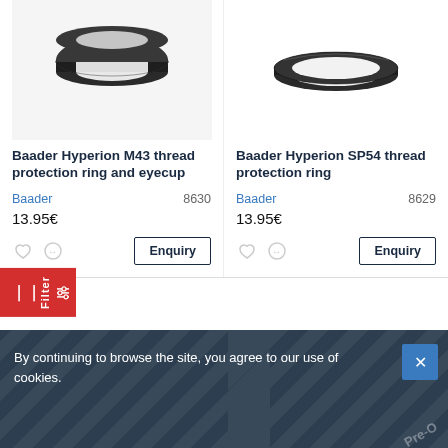[Figure (photo): Baader Hyperion M43 thread protection ring - dark rubber ring on light background]
[Figure (photo): Baader Hyperion SP54 thread protection ring - dark flat ring on white background]
Baader Hyperion M43 thread protection ring and eyecup
Baader Hyperion SP54 thread protection ring
Baader    8630
13.95€
Baader    8629
13.95€
Enquiry
Enquiry
By continuing to browse the site, you agree to our use of cookies.